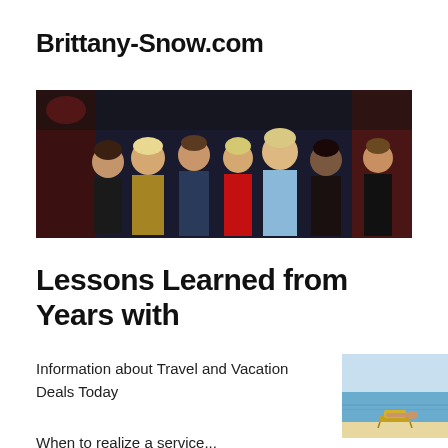Brittany-Snow.com
[Figure (photo): Group photo of several celebrities/people at what appears to be a red-carpet or event, posed together in a wide banner format.]
Lessons Learned from Years with
Information about Travel and Vacation Deals Today
[Figure (photo): Person relaxing on a beach chair on a sunny beach with clear blue water in the background.]
When to realize a service...